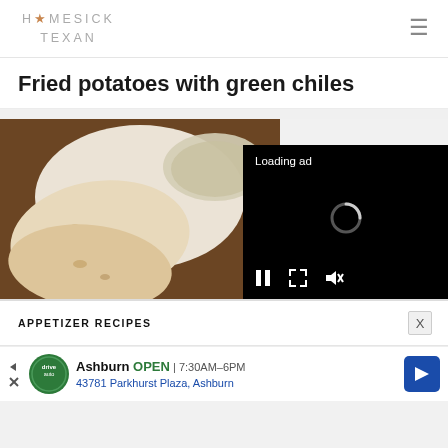HOMESICK TEXAN
Fried potatoes with green chiles
[Figure (photo): Food photo of tortillas/flatbreads on a white plate with a bowl, on a brown background, partially overlaid by a video ad player showing 'Loading ad' with spinner and playback controls]
APPETIZER RECIPES
Ashburn  OPEN  7:30AM–6PM
43781 Parkhurst Plaza, Ashburn